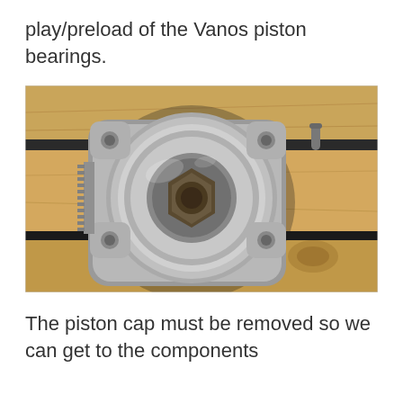play/preload of the Vanos piston bearings.
[Figure (photo): A Vanos piston bearing assembly (circular silver/aluminum mechanical component with a central bearing and mounting flanges) resting on wooden boards.]
The piston cap must be removed so we can get to the components